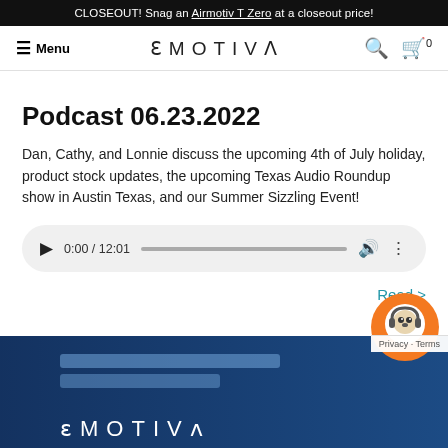CLOSEOUT! Snag an Airmotiv T Zero at a closeout price!
Menu | EMOTIVA | Search | Cart 0
Podcast 06.23.2022
Dan, Cathy, and Lonnie discuss the upcoming 4th of July holiday, product stock updates, the upcoming Texas Audio Roundup show in Austin Texas, and our Summer Sizzling Event!
[Figure (other): Audio player showing 0:00 / 12:01 with progress bar, volume and more icons]
Read >
[Figure (photo): Screenshot of Emotiva podcast page bottom showing microphone and Emotiva logo on blue background, with orange chat widget and Privacy - Terms bar]